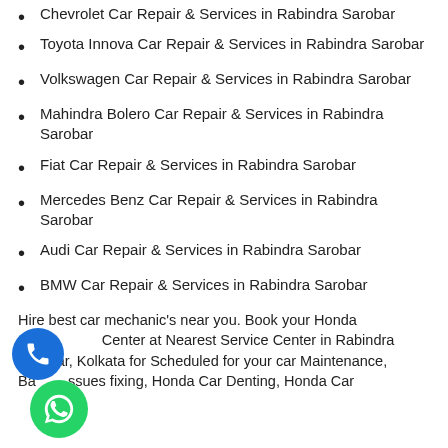Chevrolet Car Repair & Services in Rabindra Sarobar
Toyota Innova Car Repair & Services in Rabindra Sarobar
Volkswagen Car Repair & Services in Rabindra Sarobar
Mahindra Bolero Car Repair & Services in Rabindra Sarobar
Fiat Car Repair & Services in Rabindra Sarobar
Mercedes Benz Car Repair & Services in Rabindra Sarobar
Audi Car Repair & Services in Rabindra Sarobar
BMW Car Repair & Services in Rabindra Sarobar
Hire best car mechanic's near you. Book your Honda Car Center at Nearest Service Center in Rabindra Sarobar, Kolkata for Scheduled for your car Maintenance, Battery issues fixing, Honda Car Denting, Honda Car